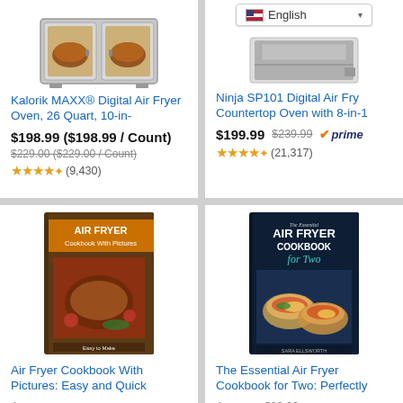[Figure (photo): Kalorik MAXX Digital Air Fryer Oven product image - stainless steel oven with glass doors and food inside]
Kalorik MAXX® Digital Air Fryer Oven, 26 Quart, 10-in-
$198.99 ($198.99 / Count)
$229.00 ($229.00 / Count)
★★★★✦ (9,430)
[Figure (screenshot): English language dropdown selector and Ninja SP101 Digital Air Fry Countertop Oven product image]
Ninja SP101 Digital Air Fry Countertop Oven with 8-in-1
$199.99 $239.99 ✔prime
★★★★✦ (21,317)
[Figure (photo): Air Fryer Cookbook With Pictures book cover - shows food photography]
Air Fryer Cookbook With Pictures: Easy and Quick
$0.99
★★★★★ (157)
[Figure (photo): The Essential Air Fryer Cookbook for Two book cover - dark background with tacos]
The Essential Air Fryer Cookbook for Two: Perfectly
$10.69 $22.99 ✔prime
★★★★✦ (5,330)